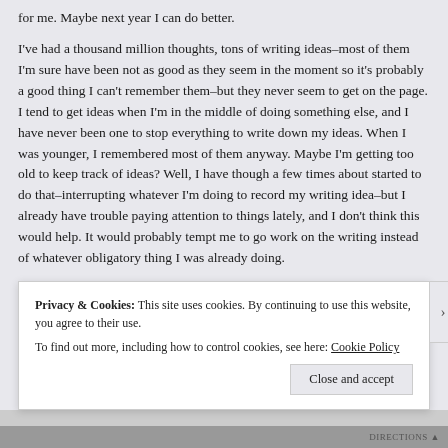for me. Maybe next year I can do better.
I've had a thousand million thoughts, tons of writing ideas–most of them I'm sure have been not as good as they seem in the moment so it's probably a good thing I can't remember them–but they never seem to get on the page. I tend to get ideas when I'm in the middle of doing something else, and I have never been one to stop everything to write down my ideas. When I was younger, I remembered most of them anyway. Maybe I'm getting too old to keep track of ideas? Well, I have though a few times about started to do that–interrupting whatever I'm doing to record my writing idea–but I already have trouble paying attention to things lately, and I don't think this would help. It would probably tempt me to go work on the writing instead of whatever obligatory thing I was already doing.
Privacy & Cookies: This site uses cookies. By continuing to use this website, you agree to their use.
To find out more, including how to control cookies, see here: Cookie Policy